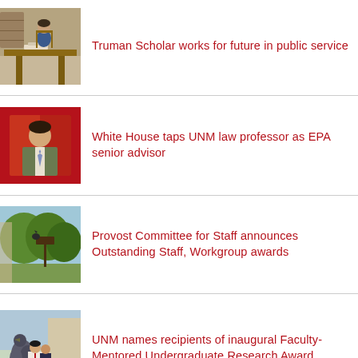[Figure (photo): Student sitting at a wooden table in a library, studying.]
Truman Scholar works for future in public service
[Figure (photo): Portrait of a man in a suit on a red background.]
White House taps UNM law professor as EPA senior advisor
[Figure (photo): Outdoor campus scene with trees and a bird.]
Provost Committee for Staff announces Outstanding Staff, Workgroup awards
[Figure (photo): A woman wearing a red lanyard standing near a large bird sculpture outdoors.]
UNM names recipients of inaugural Faculty-Mentored Undergraduate Research Award